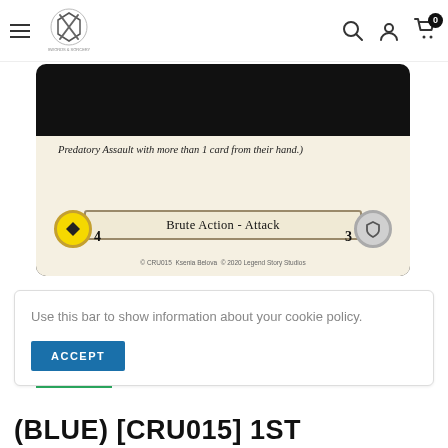[Figure (screenshot): Website header with hamburger menu, logo (sword and shield with dice), search icon, account icon, and cart icon with badge showing 0]
[Figure (photo): Trading card game card (Flesh and Blood) showing bottom portion: italic flavor/rules text about Predatory Assault, type line reading 'Brute Action - Attack', cost circle (yellow with 4), defense value (3 with gray shield), copyright line: CRU015 Ksenia Belova © 2020 Legend Story Studios]
[Figure (photo): Small thumbnail image placeholder with green border, white background]
Use this bar to show information about your cookie policy.
ACCEPT
(BLUE) [CRU015] 1ST